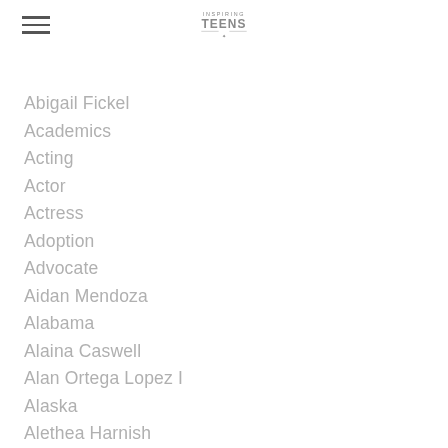Inspiring Teens
Abigail Fickel
Academics
Acting
Actor
Actress
Adoption
Advocate
Aidan Mendoza
Alabama
Alaina Caswell
Alan Ortega Lopez I
Alaska
Alethea Harnish
Alexa Fucello
Alexandria Poe
Alexis Candelaria
Alexis Filmer
Alexis-salmons